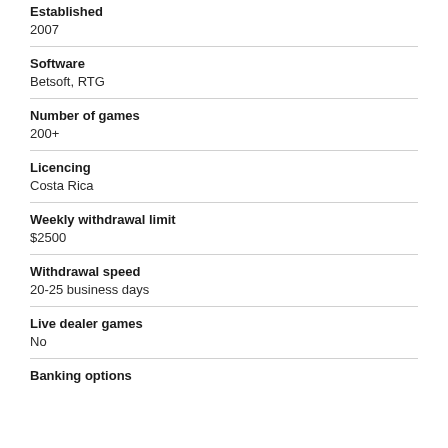Established
2007
Software
Betsoft, RTG
Number of games
200+
Licencing
Costa Rica
Weekly withdrawal limit
$2500
Withdrawal speed
20-25 business days
Live dealer games
No
Banking options